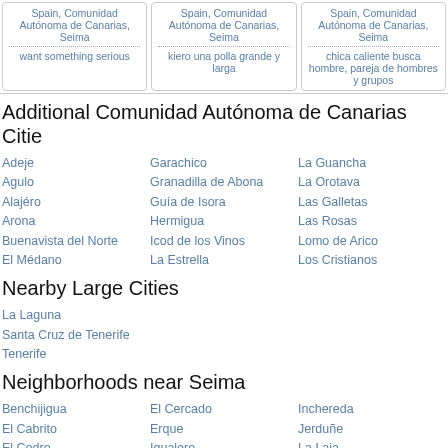Spain, Comunidad Autónoma de Canarias, Seima | want something serious
Spain, Comunidad Autónoma de Canarias, Seima | kiero una polla grande y larga
Spain, Comunidad Autónoma de Canarias, Seima | chica caliente busca hombre, pareja de hombres y grupos
Additional Comunidad Autónoma de Canarias Cities
Adeje
Agulo
Alajeró
Arona
Buenavista del Norte
El Médano
Garachico
Granadilla de Abona
Guía de Isora
Hermigua
Icod de los Vinos
La Estrella
La Guancha
La Orotava
Las Galletas
Las Rosas
Lomo de Arico
Los Cristianos
Nearby Large Cities
La Laguna
Santa Cruz de Tenerife
Tenerife
Neighborhoods near Seima
Benchijigua
El Cabrito
El Cedro
El Cercado
Erque
Igualero
Inchereda
Jerduñe
La Laja